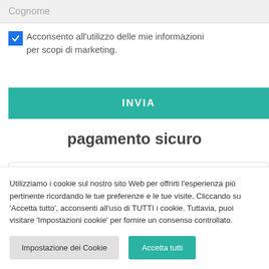Cognome
Acconsento all'utilizzo delle mie informazioni per scopi di marketing.
INVIA
pagamento sicuro
[Figure (logo): PayPal logo with blue P icon and PayPal text]
Utilizziamo i cookie sul nostro sito Web per offrirti l'esperienza più pertinente ricordando le tue preferenze e le tue visite. Cliccando su 'Accetta tutto', acconsenti all'uso di TUTTI i cookie. Tuttavia, puoi visitare 'Impostazioni cookie' per fornire un consenso controllato.
Impostazione dei Cookie
Accetta tutti